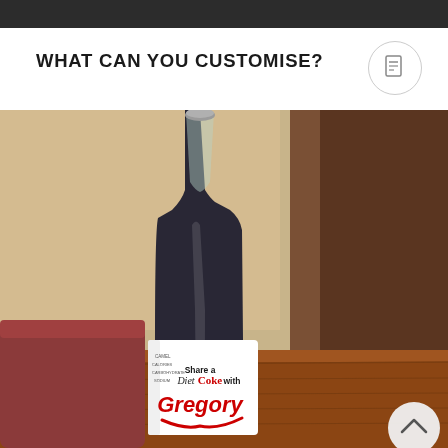WHAT CAN YOU CUSTOMISE?
[Figure (photo): A glass bottle of Diet Coke with a personalised label reading 'Share a Diet Coke with Gregory', displayed on a wooden table in a hotel room setting.]